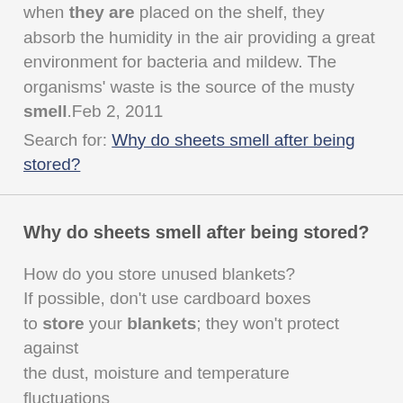So even though your sheets are perfectly dry when they are placed on the shelf, they absorb the humidity in the air providing a great environment for bacteria and mildew. The organisms' waste is the source of the musty smell.Feb 2, 2011 Search for: Why do sheets smell after being stored?
Why do sheets smell after being stored?
How do you store unused blankets? If possible, don't use cardboard boxes to store your blankets; they won't protect against the dust, moisture and temperature fluctuations